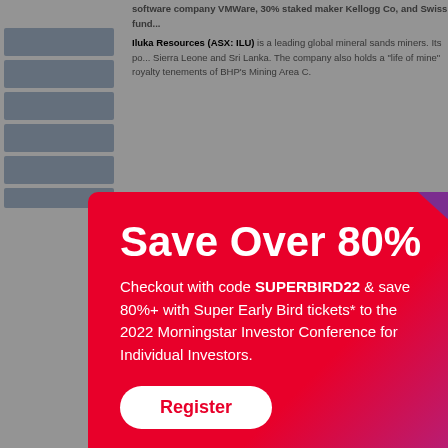Iluka Resources (ASX: ILU) is a leading global mineral sands miners. Its portfolio includes operations in Sierra Leone and Sri Lanka. The company also holds a "life of mine" royalty tenements of BHP's Mining Area C.
...is us... ...approx... ...e.
...s is cycli...
...are low,... ...n to end...
...on ore pr... ...um and a...
Iluka posted a solid first-half 2019 result. Net profit after tax rose 13 per cent... has an "exemplary" stewardship rating and will on Wednesday pay a 5c fully...
VMWare's 'massive' software footprint
[Figure (screenshot): Red book cover with 'Investing' text]
Listen to Morningstar Australia's Investing Comp... Take a deep dive into investing concepts, with practi... invest confidently.
[Figure (infographic): Morningstar promotional modal popup with red gradient background. Headline: Save Over 80%. Subtext: Checkout with code SUPERBIRD22 & save 80%+ with Super Early Bird tickets* to the 2022 Morningstar Investor Conference for Individual Investors. Register button. Disclaimer: *Tickets sold on a first-come, first-serve basis. Morningstar reserves the right to close or extend this offer at its discretion. Morningstar logo. Close button (X) in top right corner.]